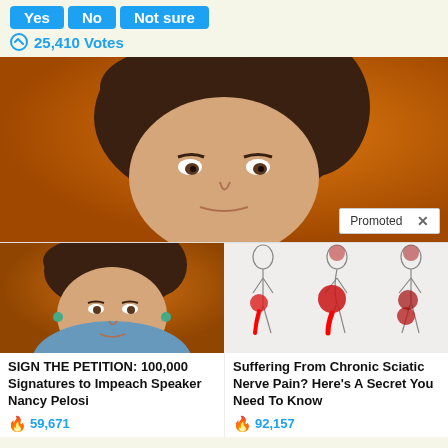Yes | No | Not sure (vote buttons)
25,410 Votes
[Figure (photo): Close-up photo of Nancy Pelosi against an orange background]
Promoted X
[Figure (photo): Thumbnail photo of Nancy Pelosi in blue jacket against orange background]
SIGN THE PETITION: 100,000 Signatures to Impeach Speaker Nancy Pelosi
59,671
[Figure (illustration): Medical illustration showing three side-profile human body outlines with red highlighted areas indicating sciatic nerve pain regions]
Suffering From Chronic Sciatic Nerve Pain? Here's A Secret You Need To Know
92,157